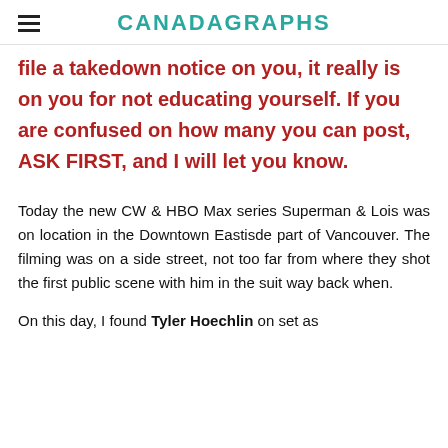CANADAGRAPHS
file a takedown notice on you, it really is on you for not educating yourself. If you are confused on how many you can post, ASK FIRST, and I will let you know.
Today the new CW & HBO Max series Superman & Lois was on location in the Downtown Eastisde part of Vancouver. The filming was on a side street, not too far from where they shot the first public scene with him in the suit way back when.
On this day, I found Tyler Hoechlin on set as